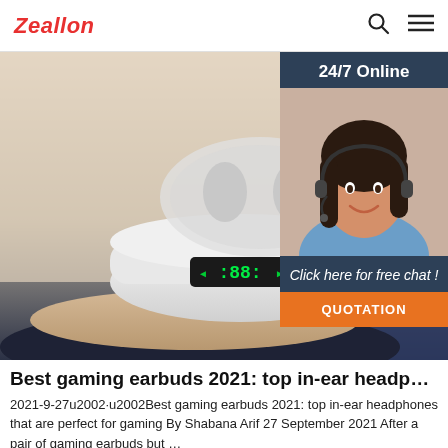Zeallon
[Figure (photo): Product photo of wireless earbuds in a charging case with LED display, placed on circular display stands in beige and dark navy colors against a light background]
[Figure (infographic): 24/7 Online chat widget with a smiling female customer service representative wearing a headset, with 'Click here for free chat!' text and a QUOTATION orange button]
Best gaming earbuds 2021: top in-ear headp…
2021-9-27u2002·u2002Best gaming earbuds 2021: top in-ear headphones that are perfect for gaming By Shabana Arif 27 September 2021 After a pair of gaming earbuds but …
Get Price